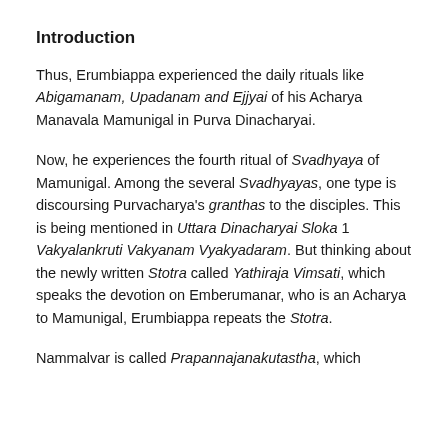Introduction
Thus, Erumbiappa experienced the daily rituals like Abigamanam, Upadanam and Ejjyai of his Acharya Manavala Mamunigal in Purva Dinacharyai.
Now, he experiences the fourth ritual of Svadhyaya of Mamunigal. Among the several Svadhyayas, one type is discoursing Purvacharya's granthas to the disciples. This is being mentioned in Uttara Dinacharyai Sloka 1 Vakyalankruti Vakyanam Vyakyadaram. But thinking about the newly written Stotra called Yathiraja Vimsati, which speaks the devotion on Emberumanar, who is an Acharya to Mamunigal, Erumbiappa repeats the Stotra.
Nammalvar is called Prapannajanakutastha, which